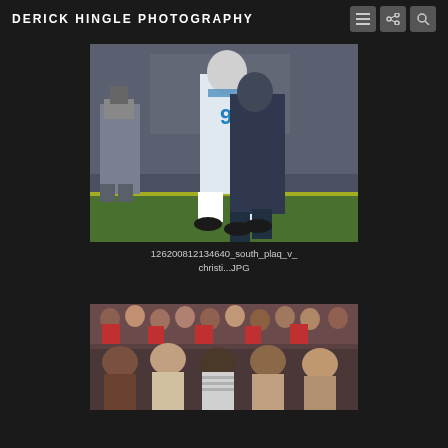DERICK HINGLE PHOTOGRAPHY
[Figure (photo): Two football players celebrating on field, one in white jersey #9 with helmet, the other in dark uniform, with a photographer visible in the background on green turf inside an indoor stadium]
126200812134640_south_plaq_v_christi...JPG
[Figure (photo): Crowd of spectators at a football game, people of various ages standing and sitting in stadium seating]